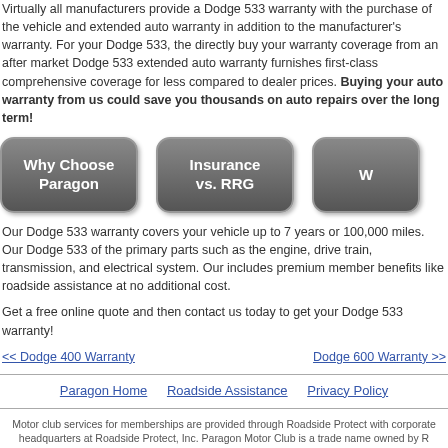Virtually all manufacturers provide a Dodge 533 warranty with the purchase of the vehicle and extended auto warranty in addition to the manufacturer's warranty. For your Dodge 533, the directly buy your warranty coverage from an after market Dodge 533 extended auto warranty furnishes first-class comprehensive coverage for less compared to dealer prices. Buying your auto warranty from us could save you thousands on auto repairs over the long term!
[Figure (other): Two navigation buttons: 'Why Choose Paragon' and 'Insurance vs. RRG' with a partial third button]
Our Dodge 533 warranty covers your vehicle up to 7 years or 100,000 miles. Our Dodge 533 of the primary parts such as the engine, drive train, transmission, and electrical system. Our includes premium member benefits like roadside assistance at no additional cost.
Get a free online quote and then contact us today to get your Dodge 533 warranty!
<< Dodge 400 Warranty    Dodge 600 Warranty >>
Paragon Home   Roadside Assistance   Privacy Policy
Motor club services for memberships are provided through Roadside Protect with corporate headquarters at Roadside Protect, Inc. Paragon Motor Club is a trade name owned by R
Copyright Paragon Motor Club 2008-2022. All Rights Reserved.